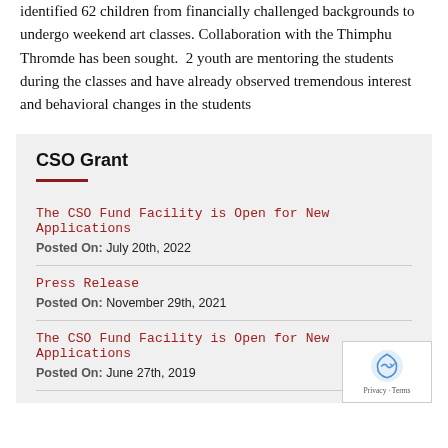identified 62 children from financially challenged backgrounds to undergo weekend art classes. Collaboration with the Thimphu Thromde has been sought.  2 youth are mentoring the students during the classes and have already observed tremendous interest and behavioral changes in the students
CSO Grant
The CSO Fund Facility is Open for New Applications
Posted On: July 20th, 2022
Press Release
Posted On: November 29th, 2021
The CSO Fund Facility is Open for New Applications
Posted On: June 27th, 2019